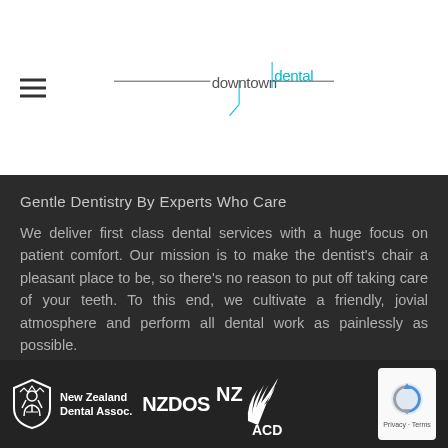[Figure (logo): Downtown Dental logo with hamburger menu icon. Logo shows 'downtown' in grey and 'dental' in cyan with decorative lines and cross mark.]
Gentle Dentistry By Experts Who Care
We deliver first class dental services with a huge focus on patient comfort. Our mission is to make the dentist’s chair a pleasant place to be, so there’s no reason to put off taking care of your teeth. To this end, we cultivate a friendly, jovial atmosphere and perform all dental work as painlessly as possible.
[Figure (logo): Footer logos: New Zealand Dental Assoc. shield logo, NZDOS text logo, NZACD fern logo, and reCAPTCHA badge with Privacy and Terms text.]